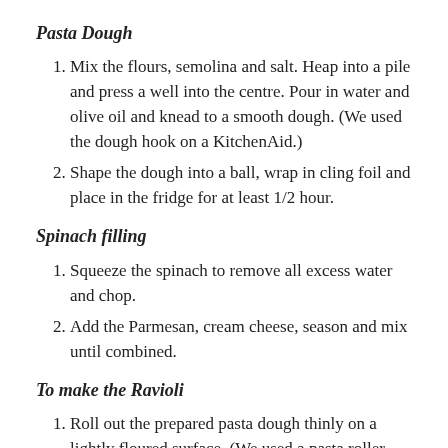Pasta Dough
Mix the flours, semolina and salt. Heap into a pile and press a well into the centre. Pour in water and olive oil and knead to a smooth dough. (We used the dough hook on a KitchenAid.)
Shape the dough into a ball, wrap in cling foil and place in the fridge for at least 1/2 hour.
Spinach filling
Squeeze the spinach to remove all excess water and chop.
Add the Parmesan, cream cheese, season and mix until combined.
To make the Ravioli
Roll out the prepared pasta dough thinly on a lightly floured surface. (We used a pasta roller